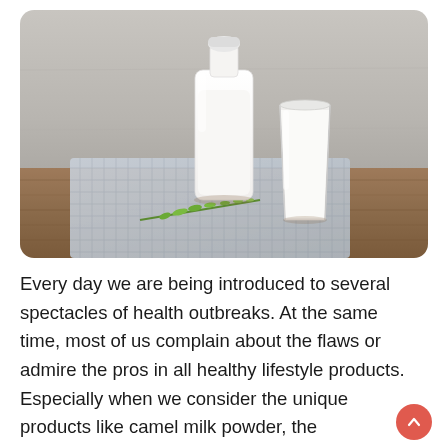[Figure (photo): A glass bottle of milk with a white cap and a glass of milk, placed on a blue checkered cloth on a wooden cutting board, with a sprig of green herb, against a grey concrete background.]
Every day we are being introduced to several spectacles of health outbreaks. At the same time, most of us complain about the flaws or admire the pros in all healthy lifestyle products. Especially when we consider the unique products like camel milk powder, the